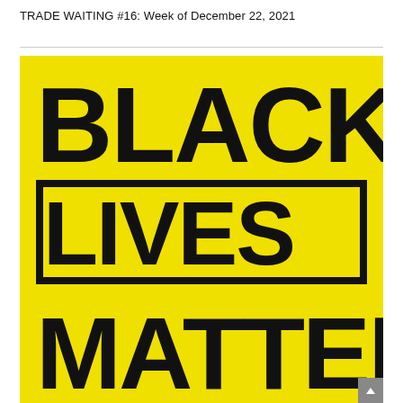TRADE WAITING #16: Week of December 22, 2021
[Figure (illustration): Black Lives Matter logo on bright yellow background. Large bold black text reads 'BLACK' at top, then 'LIVES' inside a black rectangle border, then 'MATTER' at bottom (partially cropped). All text in heavy black sans-serif on yellow background.]